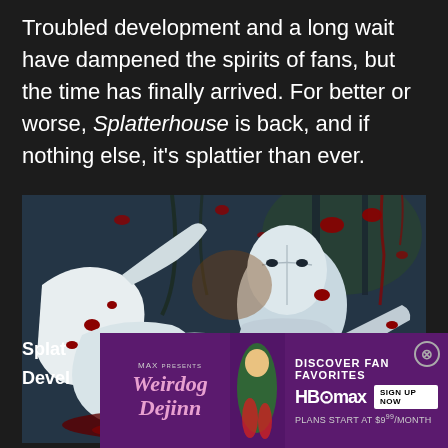Troubled development and a long wait have dampened the spirits of fans, but the time has finally arrived. For better or worse, Splatterhouse is back, and if nothing else, it's splattier than ever.
[Figure (screenshot): Screenshot from the video game Splatterhouse showing a blood-splattered scene with white monster-like creatures and a large masked figure in a dark, gory environment.]
Splat
Devel
[Figure (infographic): HBO Max advertisement overlay showing 'Weirdog Dejinn' with purple background, text 'DISCOVER FAN FAVORITES', HBO Max logo with SIGN UP NOW button, and 'PLANS START AT $9.99/MONTH', with a close (X) button.]